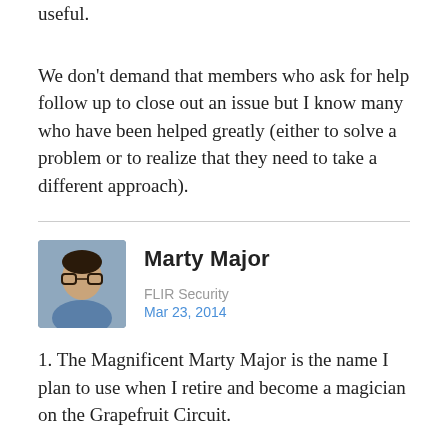useful.
We don't demand that members who ask for help follow up to close out an issue but I know many who have been helped greatly (either to solve a problem or to realize that they need to take a different approach).
[Figure (photo): Profile photo of Marty Major, a person wearing glasses and a blue shirt]
Marty Major
FLIR Security
Mar 23, 2014
1. The Magnificent Marty Major is the name I plan to use when I retire and become a magician on the Grapefruit Circuit.
2. My help actually falls under the umbrella of training